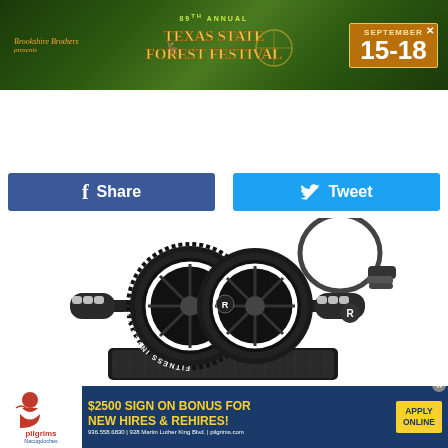[Figure (screenshot): Top banner advertisement for the 89th Annual Texas State Forest Festival, September 15-18, with green forest background and Brookshire Brothers logo]
[Figure (screenshot): KFOX 95.5 radio station navigation bar with purple geometric background and hamburger menu icon]
[Figure (screenshot): Social media share buttons: Facebook Share button (dark blue) and Twitter Tweet button (light blue)]
[Figure (photo): Product photo of a fitness ab wheel roller with knee pad and jump rope on white background, labeled Fitness Inventor]
[Figure (screenshot): Advertisement banner for Pilgrim's Nacogdoches: $2500 SIGN ON BONUS FOR NEW HIRES & REHIRES! APPLY ONLINE. 936.558.6830 | 928 Martin Luther King Blvd. | pilgrims.com]